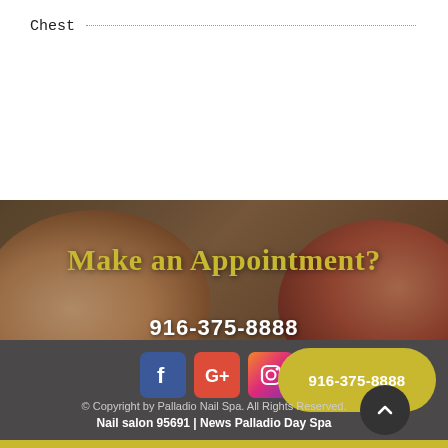Chest
[Figure (photo): Background photo of hands with red nail polish being applied, overlaid with dark brownish tint]
Make an Appointment?
916-375-8888
916-375-8888
[Figure (logo): Facebook, Google+, and Instagram social media icons in a row]
© Copyright by Palladio Nail Spa. All Rights Reserved.
Nail salon 95691 | News Palladio Day Spa